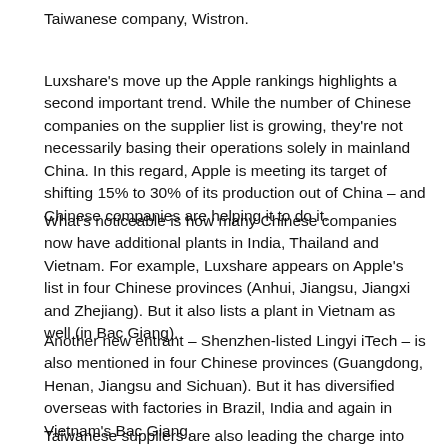Taiwanese company, Wistron.
Luxshare's move up the Apple rankings highlights a second important trend. While the number of Chinese companies on the supplier list is growing, they're not necessarily basing their operations solely in mainland China. In this regard, Apple is meeting its target of shifting 15% to 30% of its production out of China – and Chinese companies are helping it to do it.
What's noticeable is how many Chinese companies now have additional plants in India, Thailand and Vietnam. For example, Luxshare appears on Apple's list in four Chinese provinces (Anhui, Jiangsu, Jiangxi and Zhejiang). But it also lists a plant in Vietnam as well (in Bac Giang).
Another new entrant – Shenzhen-listed Lingyi iTech – is also mentioned in four Chinese provinces (Guangdong, Henan, Jiangsu and Sichuan). But it has diversified overseas with factories in Brazil, India and again in Vietnam's Bac Giang.
Taiwanese suppliers are also leading the charge into Southeast